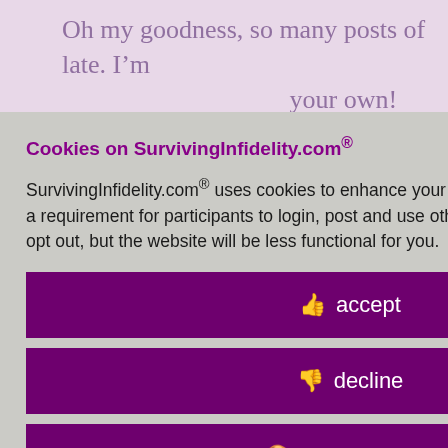Oh my goodness, so many posts of late. I'm ... your own!
...riod. Hard, yes. ; illuminated. lusion is that I this is the survivor has a he BS will need eresting that ged my mind. d in what I erbiage of it. because this
Cookies on SurvivingInfidelity.com®
SurvivingInfidelity.com® uses cookies to enhance your visit to our website. This is a requirement for participants to login, post and use other features. Visitors may opt out, but the website will be less functional for you.
accept
decline
about cookies
Policy